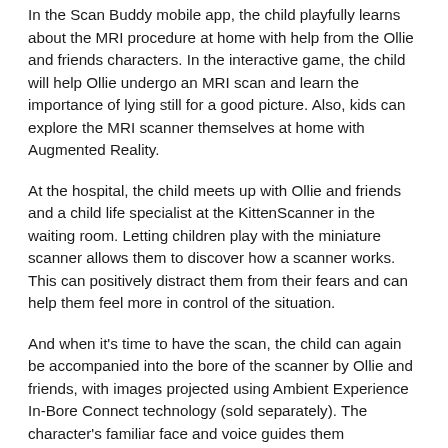In the Scan Buddy mobile app, the child playfully learns about the MRI procedure at home with help from the Ollie and friends characters. In the interactive game, the child will help Ollie undergo an MRI scan and learn the importance of lying still for a good picture. Also, kids can explore the MRI scanner themselves at home with Augmented Reality.
At the hospital, the child meets up with Ollie and friends and a child life specialist at the KittenScanner in the waiting room. Letting children play with the miniature scanner allows them to discover how a scanner works. This can positively distract them from their fears and can help them feel more in control of the situation.
And when it's time to have the scan, the child can again be accompanied into the bore of the scanner by Ollie and friends, with images projected using Ambient Experience In-Bore Connect technology (sold separately). The character's familiar face and voice guides them throughout the examination.
Smoother exams by reducing child's